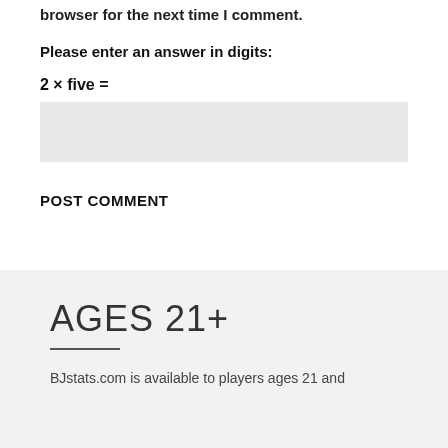browser for the next time I comment.
Please enter an answer in digits:
POST COMMENT
AGES 21+
BJstats.com is available to players ages 21 and